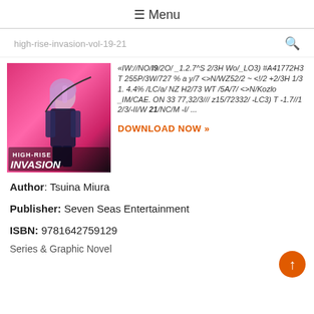☰ Menu
high-rise-invasion-vol-19-21
[Figure (illustration): Book cover for High-Rise Invasion showing anime character with pink/purple hair in dark outfit against a pink and dark background with title 'HIGH-RISE INVASION']
«IW://NO/I9/2O/ _1.2.7^S 2/3H Wo/_LO3) #A41772H3 T 255P/3W/727 % a y/7 <>N/WZ52/2 ~ </2 +2/3H 1/3 1. 4.4% /LC/a/ NZ H2/73 WT /5A/7/ <>N/Kozlo _IM/CAE. ON 33 77,32/3/// z15/72332/ -LC3) T -1.7//1 2/3/-II/W 21/NC/M -I/ ...
DOWNLOAD NOW »
Author: Tsuina Miura
Publisher: Seven Seas Entertainment
ISBN: 9781642759129
Series & Graphic Novel